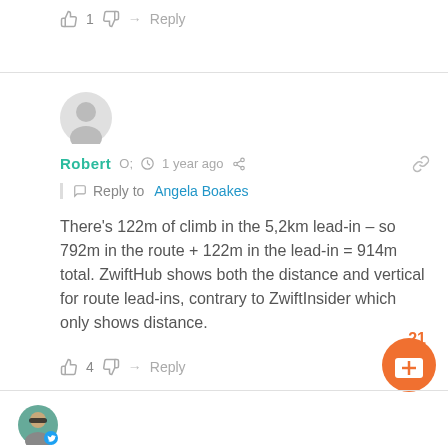👍 1 👎 → Reply
Robert  🕐 1 year ago  < share  🔗
Reply to Angela Boakes
There's 122m of climb in the 5,2km lead-in – so 792m in the route + 122m in the lead-in = 914m total. ZwiftHub shows both the distance and vertical for route lead-ins, contrary to ZwiftInsider which only shows distance.
👍 4 👎 → Reply  21